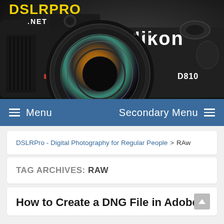[Figure (photo): DSLRPRO.NET website header banner featuring a Nikon D810 DSLR camera on a dark background. The DSLRPRO.NET logo appears in yellow/white text on the upper left.]
≡ Menu   Secondary Menu ≡
DSLRPro - Digital Photography for Regular People > RAw
TAG ARCHIVES: RAW
How to Create a DNG File in Adobe